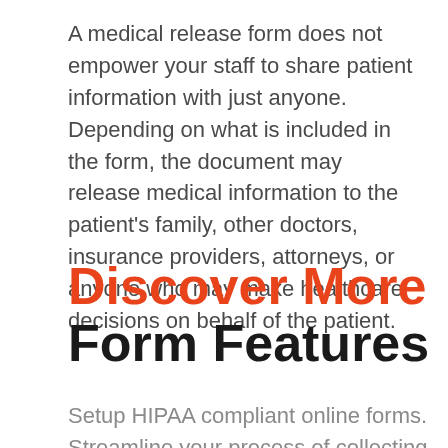A medical release form does not empower your staff to share patient information with just anyone. Depending on what is included in the form, the document may release medical information to the patient's family, other doctors, insurance providers, attorneys, or anyone who may make healthcare decisions on behalf of the patient.
Discover More Form Features
Setup HIPAA compliant online forms. Streamline your process of collecting